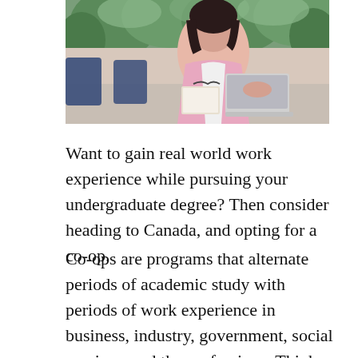[Figure (photo): A woman in a pink blazer sitting at a desk working on a laptop in an office or cafe setting with plants in the background and blue chairs visible.]
Want to gain real world work experience while pursuing your undergraduate degree? Then consider heading to Canada, and opting for a co-op.
Co-ops are programs that alternate periods of academic study with periods of work experience in business, industry, government, social services, and the professions. Think of a co-op as a paid, substantive internship you complete during your degree studies. How cool is that? Very!